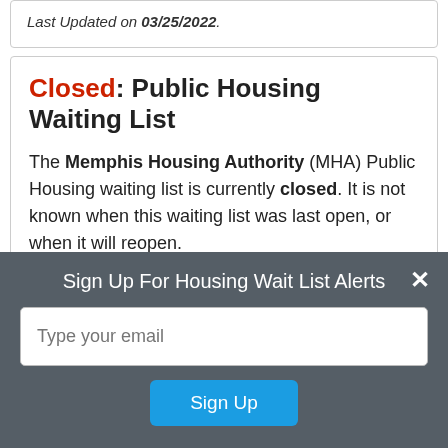Last Updated on 03/25/2022.
Closed: Public Housing Waiting List
The Memphis Housing Authority (MHA) Public Housing waiting list is currently closed. It is not known when this waiting list was last open, or when it will reopen.
Please note: As of June 11, 2019, on the MHA Public Housing page, there is a "2017 MHA Application Process and Information" link that gives information on how to apply, with a list of communities that have an open waiting list. There is also an
Sign Up For Housing Wait List Alerts
Type your email
Sign Up